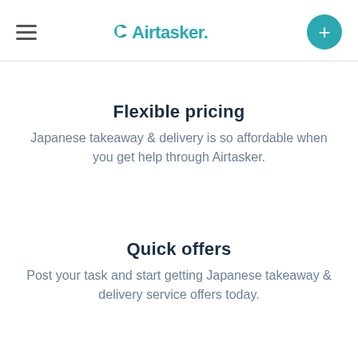Airtasker
Flexible pricing
Japanese takeaway & delivery is so affordable when you get help through Airtasker.
Quick offers
Post your task and start getting Japanese takeaway & delivery service offers today.